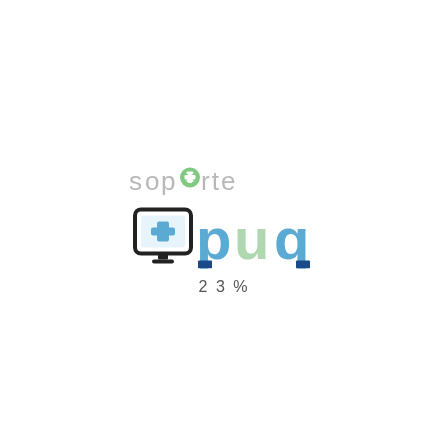[Figure (logo): Soporte PUQ logo: grey 'soporte' text with green circle/cross icon replacing the 'o', below which is a computer monitor icon with a medical cross and the letters 'puq' in blue-green colors with blue square accents]
23%